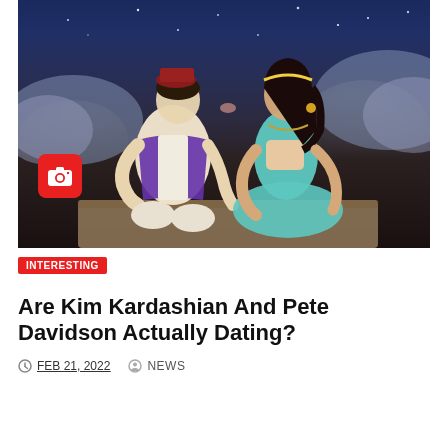[Figure (photo): Two people in costume kissing: one dressed as Aladdin (purple vest, beige pants, red fez hat) and one as Princess Jasmine (teal outfit, dark hair). Dark blue starry night sky backdrop with clouds. A red camera icon badge is visible in the lower left of the image.]
INTERESTING
Are Kim Kardashian And Pete Davidson Actually Dating?
FEB 21, 2022   NEWS